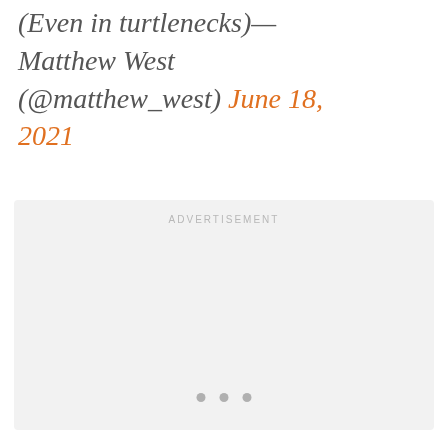(Even in turtlenecks)— Matthew West (@matthew_west) June 18, 2021
[Figure (other): Advertisement placeholder box with 'ADVERTISEMENT' label and three dots at bottom center]